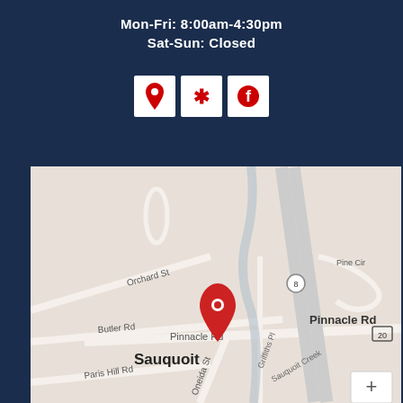Mon-Fri: 8:00am-4:30pm
Sat-Sun: Closed
[Figure (infographic): Three icon buttons: Google Maps pin icon, Yelp burst icon, Facebook icon - all in red on white square backgrounds]
[Figure (map): Google Maps showing Sauquoit area with a red location pin on Pinnacle Rd. Street labels visible: Orchard St, Butler Rd, Paris Hill Rd, Oneida St, Griffiths Pl, Sauquoit Creek, Pinnacle Rd, Pine Cir. Route 8 and Route 20 visible.]